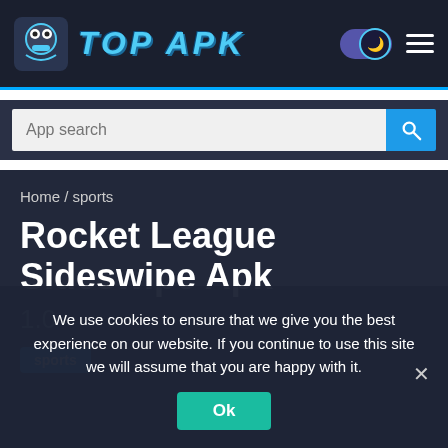TOP APK
App search
Home / sports
Rocket League Sideswipe Apk
1.0
sports
We use cookies to ensure that we give you the best experience on our website. If you continue to use this site we will assume that you are happy with it.
Ok